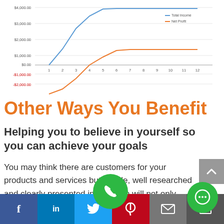[Figure (line-chart): ]
Other Ways You Benefit
Helping you to believe in yourself so you can achieve your goals
You may think there are customers for your products and services but simple, well researched and clearly presented information will not only convince you that your business is viable but set you up with a plan to follow